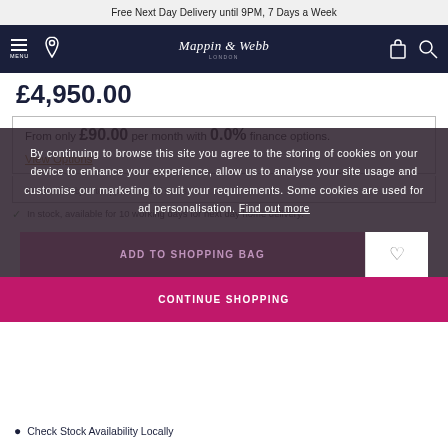Free Next Day Delivery until 9PM, 7 Days a Week
[Figure (screenshot): Mappin & Webb London navigation bar with hamburger menu, location pin, logo, bag and search icons on dark navy background]
£4,950.00
From only £90.00 per month with 0.0% finance options.
View Options
Finance is subject to application and status.
In stock, available for 10 working days for next day home delivery.
By continuing to browse this site you agree to the storing of cookies on your device to enhance your experience, allow us to analyse your site usage and customise our marketing to suit your requirements. Some cookies are used for ad personalisation. Find out more
ADD TO SHOPPING BAG
CONTINUE SHOPPING
Check Stock Availability Locally